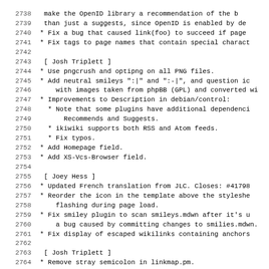Changelog/log entries for ikiwiki, lines 2738-2770
2738: make the OpenID library a recommendation of the b...
2739:     than just a suggests, since OpenID is enabled by de
2740: * Fix a bug that caused link(foo) to succeed if page
2741: * Fix tags to page names that contain special charact
2742: (blank)
2743:   [ Josh Triplett ]
2744: * Use pngcrush and optipng on all PNG files.
2745: * Add neutral smileys ":|" and ":-|", and question ic
2746:     with images taken from phpBB (GPL) and converted wi
2747: * Improvements to Description in debian/control:
2748:   * Note that some plugins have additional dependenci
2749:       Recommends and Suggests.
2750:   * ikiwiki supports both RSS and Atom feeds.
2751:   * Fix typos.
2752: * Add Homepage field.
2753: * Add XS-Vcs-Browser field.
2754: (blank)
2755:   [ Joey Hess ]
2756: * Updated French translation from JLC. Closes: #41798
2757: * Reorder the icon in the template above the styleshe
2758:     flashing during page load.
2759: * Fix smiley plugin to scan smileys.mdwn after it's u
2760:     a bug caused by committing changes to smilies.mdwn.
2761: * Fix display of escaped wikilinks containing anchors
2762: (blank)
2763:   [ Josh Triplett ]
2764: * Remove stray semicolon in linkmap.pm.
2765: (blank)
2766:  -- Joey Hess <joeyh@debian.org>  Sun, 08 Apr 2007 16:1
2767: (blank)
2768: ikiwiki (1.48) unstable; urgency=low
2769: (blank)
2770:  * Fix link() PageSpecs to not just look at the raw l